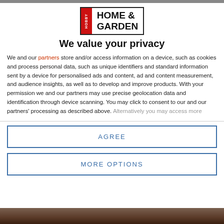[Figure (logo): Hobby Home & Garden logo with red sidebar and bold text]
We value your privacy
We and our partners store and/or access information on a device, such as cookies and process personal data, such as unique identifiers and standard information sent by a device for personalised ads and content, ad and content measurement, and audience insights, as well as to develop and improve products. With your permission we and our partners may use precise geolocation data and identification through device scanning. You may click to consent to our and our partners' processing as described above. Alternatively you may access more
AGREE
MORE OPTIONS